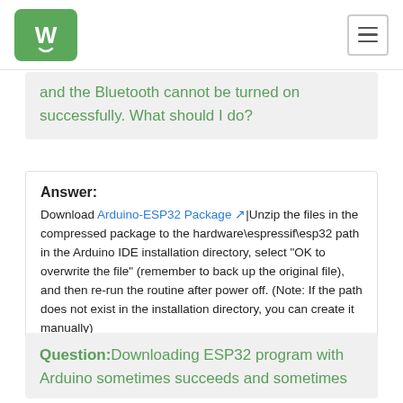Waveshare logo and navigation
and the Bluetooth cannot be turned on successfully. What should I do?
Answer:
Download Arduino-ESP32 Package Unzip the files in the compressed package to the hardware\espressif\esp32 path in the Arduino IDE installation directory, select "OK to overwrite the file" (remember to back up the original file), and then re-run the routine after power off. (Note: If the path does not exist in the installation directory, you can create it manually)
Question:Downloading ESP32 program with Arduino sometimes succeeds and sometimes